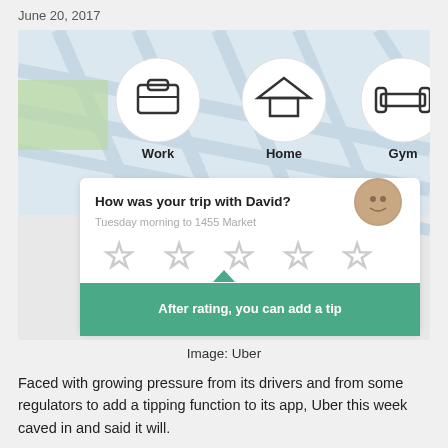June 20, 2017
[Figure (screenshot): Uber app screenshot showing a map with Work, Home, Gym destination circles, a trip rating card asking 'How was your trip with David?' with subtitle 'Tuesday morning to 1455 Market', five empty star ratings, and a green button reading 'After rating, you can add a tip']
Image: Uber
Faced with growing pressure from its drivers and from some regulators to add a tipping function to its app, Uber this week caved in and said it will.